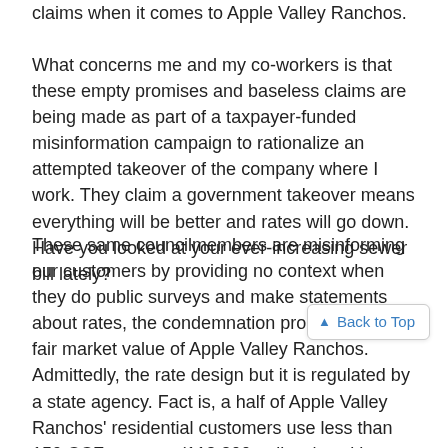claims when it comes to Apple Valley Ranchos.
What concerns me and my co-workers is that these empty promises and baseless claims are being made as part of a taxpayer-funded misinformation campaign to rationalize an attempted takeover of the company where I work. They claim a government takeover means everything will be better and rates will go down. Have you looked at your ever-increasing sewer bill lately?
These same councilmembers are misinforming our customers by providing no context when they do public surveys and make statements about rates, the condemnation process, and the fair market value of Apple Valley Ranchos. Admittedly, the rate desig... but it is regulated by a state agency. Fact is, a half of Apple Valley Ranchos' residential customers use less than 150 CCF per year (112,200 gallons) and have water bills averaging less than $60 per month (less than $2 per day)